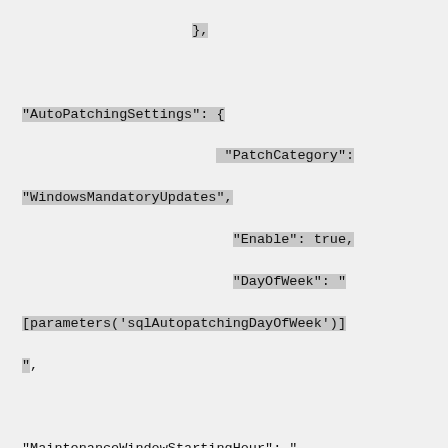},
"AutoPatchingSettings": {
                    "PatchCategory": "WindowsMandatoryUpdates",
                    "Enable": true,
                    "DayOfWeek": "[parameters('sqlAutopatchingDayOfWeek')]",

"MaintenanceWindowStartingHour": "[parameters('sqlAutopatchingStartHour')]",

"MaintenanceWindowDuration": "[parameters('sqlAutopatchingWindowDuration')]"
                },
"AutoBackupSettings": {
                    "Enable": true,